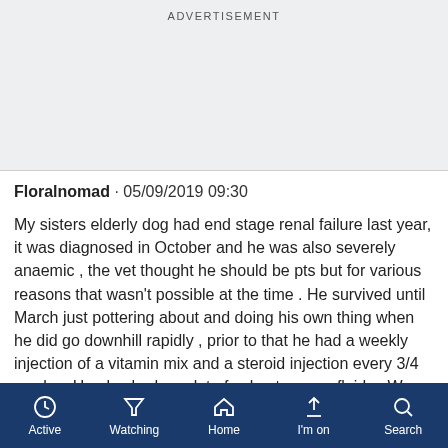ADVERTISEMENT
Floralnomad · 05/09/2019 09:30
My sisters elderly dog had end stage renal failure last year, it was diagnosed in October and he was also severely anaemic , the vet thought he should be pts but for various reasons that wasn't possible at the time . He survived until March just pottering about and doing his own thing when he did go downhill rapidly , prior to that he had a weekly injection of a vitamin mix and a steroid injection every 3/4 weeks . He also had one lot of subcutaneous fluids . We
Active  Watching  Home  I'm on  Search